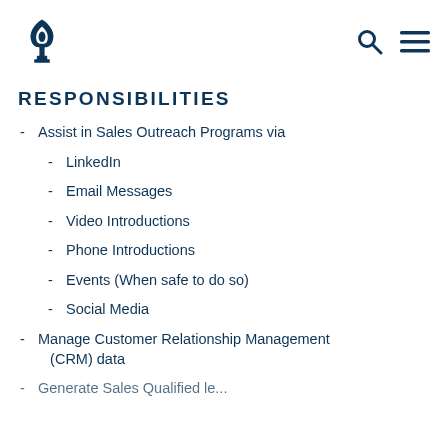[Logo] [Search icon] [Menu icon]
RESPONSIBILITIES
- Assist in Sales Outreach Programs via
- LinkedIn
- Email Messages
- Video Introductions
- Phone Introductions
- Events (When safe to do so)
- Social Media
- Manage Customer Relationship Management (CRM) data
- Generate Sales Qualified leads...